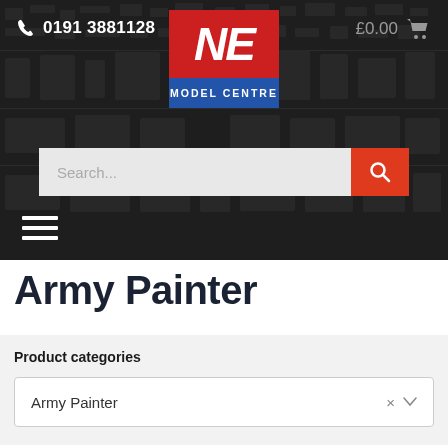0191 3881128 | NE MODEL CENTRE | £0.00
[Figure (screenshot): NE Model Centre website header with dark background showing model kit silhouettes, phone number, logo, cart, search bar, and hamburger menu]
Army Painter
Product categories
Army Painter